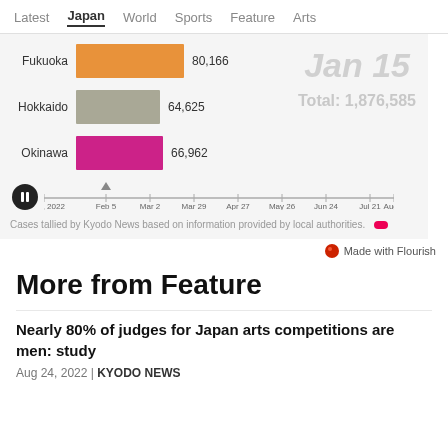Latest  Japan  World  Sports  Feature  Arts
[Figure (bar-chart): COVID cases by prefecture]
Cases tallied by Kyodo News based on information provided by local authorities.
Made with Flourish
More from Feature
Nearly 80% of judges for Japan arts competitions are men: study
Aug 24, 2022 | KYODO NEWS